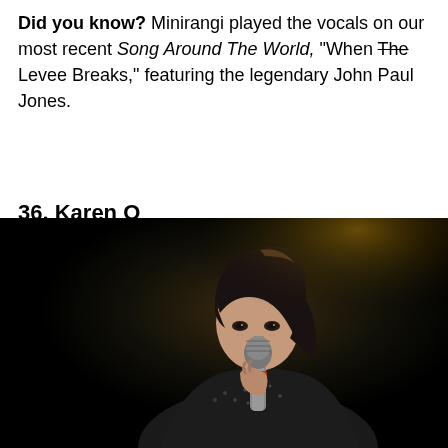Did you know? Minirangi played the vocals on our most recent Song Around The World, "When The Levee Breaks," featuring the legendary John Paul Jones.
36. Karen O
Genre: Indie rock/alternative/folk
[Figure (photo): Dark concert photo of a female singer with black hair holding a microphone close to her mouth, wearing a black studded jacket, shot against a dark background]